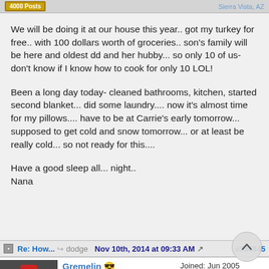4000 Posts | Sierra Vista, AZ
We will be doing it at our house this year.. got my turkey for free.. with 100 dollars worth of groceries.. son's family will be here and oldest dd and her hubby... so only 10 of us- don't know if I know how to cook for only 10 LOL!

Been a long day today- cleaned bathrooms, kitchen, started second blanket... did some laundry.... now it's almost time for my pillows.... have to be at Carrie's early tomorrow... supposed to get cold and snow tomorrow... or at least be really cold... so not ready for this....

Have a good sleep all... night..
Nana
Re: How... dodge Nov 10th, 2014 at 09:33 AM #384845
Gremelin
Mr. James
The Gnome Wrangler
Joined: Jun 2005
Posts: 3,452
Likes: 2